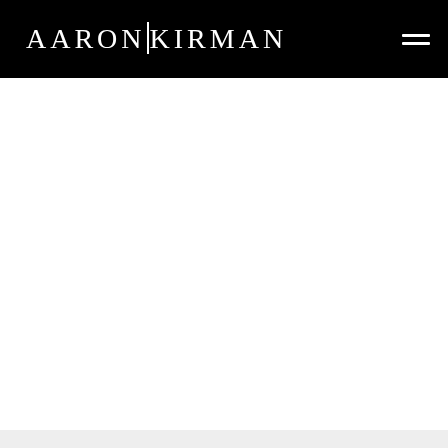AARON KIRMAN
[Figure (other): White blank main content area below the header navigation bar]